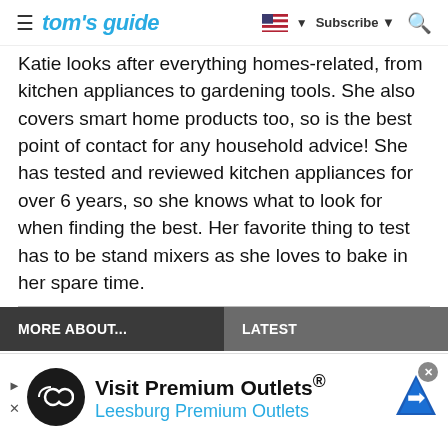tom's guide — Subscribe
Katie looks after everything homes-related, from kitchen appliances to gardening tools. She also covers smart home products too, so is the best point of contact for any household advice! She has tested and reviewed kitchen appliances for over 6 years, so she knows what to look for when finding the best. Her favorite thing to test has to be stand mixers as she loves to bake in her spare time.
MORE ABOUT...
LATEST
[Figure (infographic): Advertisement banner: Visit Premium Outlets® Leesburg Premium Outlets with logo and navigation icon]